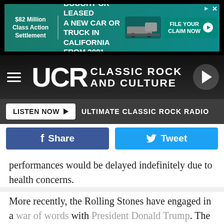[Figure (infographic): Top advertisement banner: '$82 Million Class Action Settlement - IF YOU BOUGHT OR LEASED A NEW CAR OR TRUCK IN CALIFORNIA FROM 2001 - 2003 - FILE YOUR CLAIM NOW']
[Figure (logo): UCR Classic Rock and Culture logo with hamburger menu and play button]
LISTEN NOW ▶  ULTIMATE CLASSIC ROCK RADIO
Share  Tweet
performances would be delayed indefinitely due to health concerns.
More recently, the Rolling Stones have engaged in a war of words with President Donald Trump. The polarizing politician has used several of the band's songs during his rallies, with the group threatening legal action if he continues to do so.
[Figure (infographic): Bottom advertisement in Spanish: 'Acuerdo de la demanda colectiva por $82 Millones - SI USTED COMPRO O ARRENDO UN AUTOMÓVIL O CAMIÓN NUEVO EN CALIFORNIA DESDE 2001 A 2003 - PRESENTE SU RECLAMO AHORA']